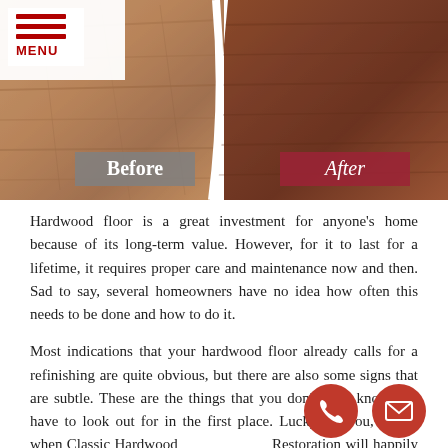[Figure (photo): Before and after comparison photo of hardwood floor refinishing. Left half shows worn, scratched wood with a grey 'Before' label. Right half shows rich, dark refinished wood with a red 'After' label in script font.]
Hardwood floor is a great investment for anyone's home because of its long-term value. However, for it to last for a lifetime, it requires proper care and maintenance now and then. Sad to say, several homeowners have no idea how often this needs to be done and how to do it.
Most indications that your hardwood floor already calls for a refinishing are quite obvious, but there are also some signs that are subtle. These are the things that you don't even know you have to look out for in the first place. Lucky for you, this is when Classic Hardwood Restoration will happily rescue you from a confused state!